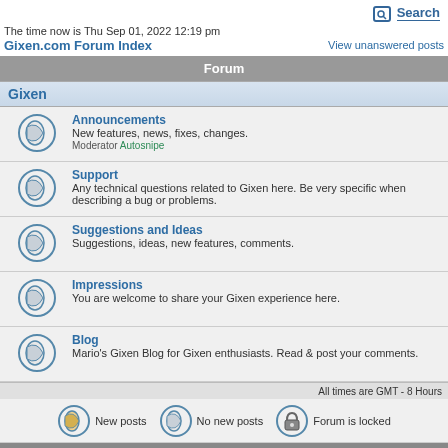Search
The time now is Thu Sep 01, 2022 12:19 pm
Gixen.com Forum Index
View unanswered posts
Forum
Gixen
Announcements
New features, news, fixes, changes.
Moderator Autosnipe
Support
Any technical questions related to Gixen here. Be very specific when describing a bug or problems.
Suggestions and Ideas
Suggestions, ideas, new features, comments.
Impressions
You are welcome to share your Gixen experience here.
Blog
Mario's Gixen Blog for Gixen enthusiasts. Read & post your comments.
All times are GMT - 8 Hours
New posts   No new posts   Forum is locked
© 2019 Gixen.com. Forum powered by phpBB © 2001, 2005 phpBB Group.